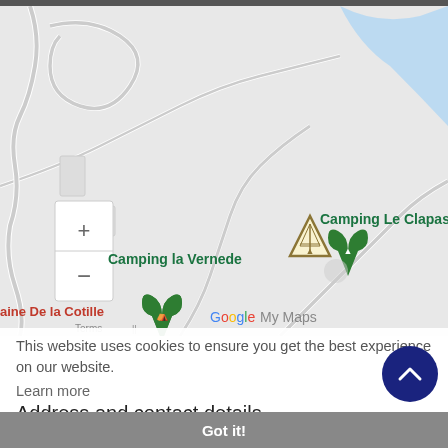[Figure (map): Google My Maps screenshot showing two camping locations: 'Camping la Vernede' with a green map pin on the left, and 'Camping Le Clapas' with a green map pin and a yellow tent marker on the right. Map shows road network and a blue river/water body in the upper right. Zoom controls (+/-) visible on left side. Google My Maps watermark and Terms label visible.]
This website uses cookies to ensure you get the best experience on our website.
Learn more
Address and contact details
Camping Le Clapas, La Vernede, Salavas, 07150, Vall...
Got it!